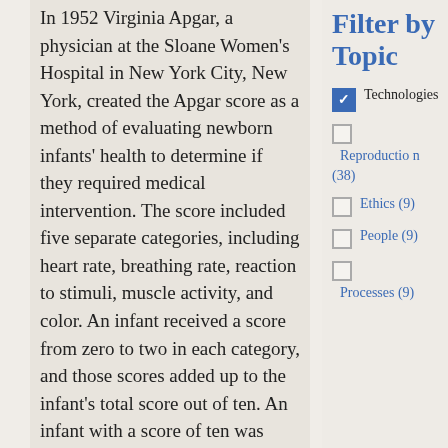In 1952 Virginia Apgar, a physician at the Sloane Women's Hospital in New York City, New York, created the Apgar score as a method of evaluating newborn infants' health to determine if they required medical intervention. The score included five separate categories, including heart rate, breathing rate, reaction to stimuli, muscle activity, and color. An infant received a score from zero to two in each category, and those scores added up to the infant's total score out of ten. An infant with a score of ten was healthy, and those with
Filter by Topic
[checked] Technologies
[unchecked] Reproduction (38)
[unchecked] Ethics (9)
[unchecked] People (9)
[unchecked] Processes (9)